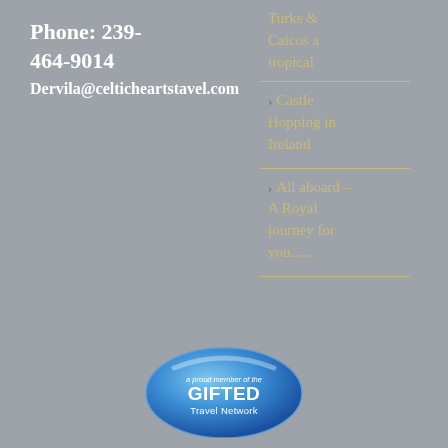Phone: 239-464-9014
Dervila@celticheartstavel.com
Turks & Caicos a tropical
Castle Hopping in Ireland
All aboard – A Royal journey for you......
[Figure (logo): Gifted Travel Network badge — blue circular badge reading 'a proud member of the GIFTED Travel Network']